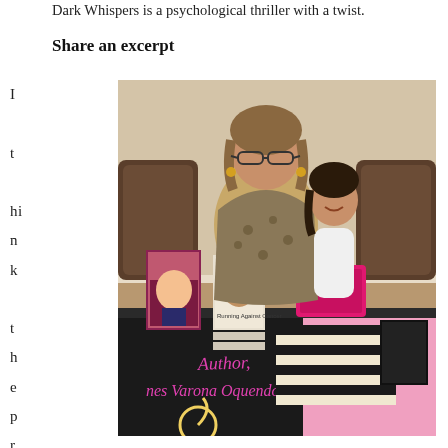Dark Whispers is a psychological thriller with a twist.
Share an excerpt
I
t
hi
n
k
t
h
e
p
r
ol
o
g
u
e
[Figure (photo): Author Ines Varona Oquendo standing behind a book display table with a young girl, at what appears to be a book fair or signing event. The table is covered with a black tablecloth reading 'Author, Ines Varona Oquendo' and a pink cloth on the right side. Several books are displayed on the table.]